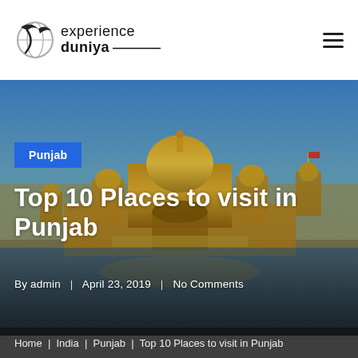experience duniya
[Figure (photo): Golden Temple (Harmandir Sahib) in Amritsar, Punjab, India — a grand golden domed temple with ornate architecture reflected in a surrounding sacred pool, set against a blue sky.]
Punjab
Top 10 Places to visit in Punjab
By admin | April 23, 2019 | No Comments
Home | India | Punjab | Top 10 Places to visit in Punjab